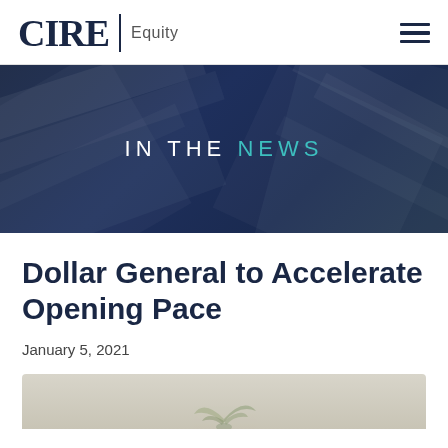CIRE Equity
[Figure (illustration): Dark navy blue hero banner with geometric diagonal shapes in the background and the text IN THE NEWS centered, where IN THE is white and NEWS is teal/cyan colored]
Dollar General to Accelerate Opening Pace
January 5, 2021
[Figure (photo): Partial photo showing greenery/plant at the bottom of the page]